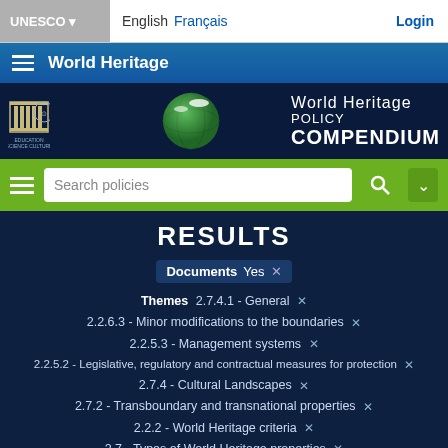UNESCO ▾   English  Français   Login
≡ World Heritage
[Figure (screenshot): World Heritage Policy Compendium banner with UNESCO logos and globe graphic]
Search policies
RESULTS
Documents Yes ×
Themes 2.7.4.1 - General ×
2.2.6.3 - Minor modifications to the boundaries ×
2.2.5.3 - Management systems ×
2.2.5.2 - Legislative, regulatory and contractual measures for protection ×
2.7.4 - Cultural Landscapes ×
2.7.2 - Transboundary and transnational properties ×
2.2.2 - World Heritage criteria ×
2.7 - Types of World Heritage properties ×
2.2 - Outstanding Universal Value ×
2.1 - Nominations to the World Heritage List ×